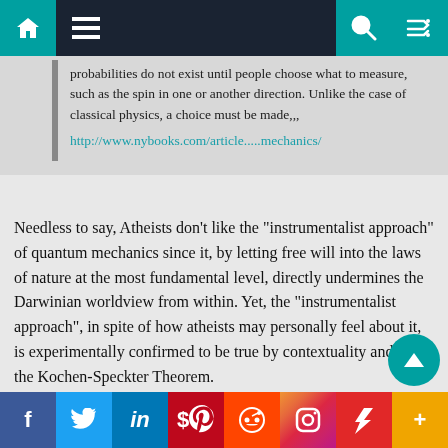Navigation bar with home, menu, search, and shuffle icons
probabilities do not exist until people choose what to measure, such as the spin in one or another direction. Unlike the case of classical physics, a choice must be made,,, http://www.nybooks.com/article.....mechanics/
Needless to say, Atheists don’t like the “instrumentalist approach” of quantum mechanics since it, by letting free will into the laws of nature at the most fundamental level, directly undermines the Darwinian worldview from within. Yet, the “instrumentalist approach”, in spite of how atheists may personally feel about it, is experimentally confirmed to be true by contextuality and/or by the Kochen-Speckter Theorem.
f  Twitter  in  Pinterest  Reddit  Instagram  Flipboard  +